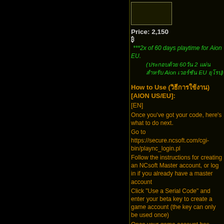[Figure (other): Product image placeholder box]
Price: 2,150 ₿
***2x of 60 days playtime for Aion EU.
(ประกอบด้วย 60วัน 2 แผ่น สำหรับ Aion เวอร์ชัน EU ยุโรป)
How to Use (วิธีการใช้งาน) [AION US/EU]:
[EN]
Once you've got your code, here's what to do next.
Go to https://secure.ncsoft.com/cgi-bin/plaync_login.pl
Follow the instructions for creating an NCsoft Master account, or log in if you already have a master account
Click "Use a Serial Code" and enter your beta key to create a game account (the key can only be used once)
Once your game account has been created, you will receive an e-mail with instructions for downloading and installing the game
If you need help with any stage of this process